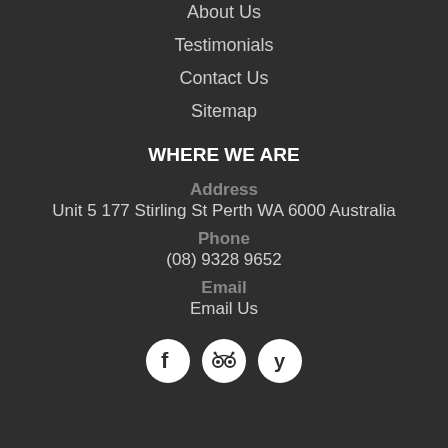About Us
Testimonials
Contact Us
Sitemap
WHERE WE ARE
Address
Unit 5 177 Stirling St Perth WA 6000 Australia
Phone
(08) 9328 9652
Email
Email Us
[Figure (other): Social media icons: Facebook, TripAdvisor, Yelp]